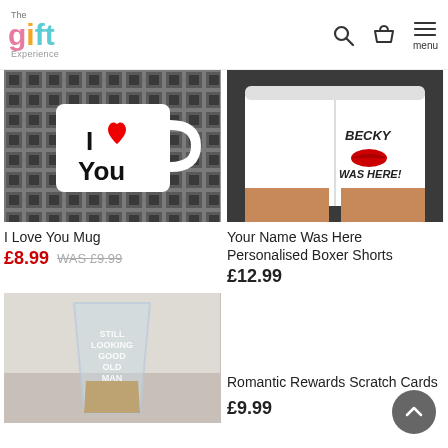[Figure (logo): The Gift Experience logo with colourful letters]
[Figure (photo): I Love You Mug product photo]
I Love You Mug
£8.99  WAS £9.99
[Figure (photo): Your Name Was Here Personalised Boxer Shorts product photo]
Your Name Was Here Personalised Boxer Shorts
£12.99
[Figure (photo): Still Looking Good Old Man glass tumbler product photo]
Romantic Rewards Scratch Cards
£9.99